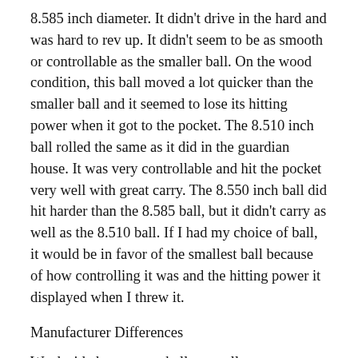8.585 inch diameter. It didn't drive in the hard and was hard to rev up. It didn't seem to be as smooth or controllable as the smaller ball. On the wood condition, this ball moved a lot quicker than the smaller ball and it seemed to lose its hitting power when it got to the pocket. The 8.510 inch ball rolled the same as it did in the guardian house. It was very controllable and hit the pocket very well with great carry. The 8.550 inch ball did hit harder than the 8.585 ball, but it didn't carry as well as the 8.510 ball. If I had my choice of ball, it would be in favor of the smallest ball because of how controlling it was and the hitting power it displayed when I threw it.
Manufacturer Differences
We decided to test our balls as well as competitors balls for size. Our balls measured 8.8 inches. Our competitors it